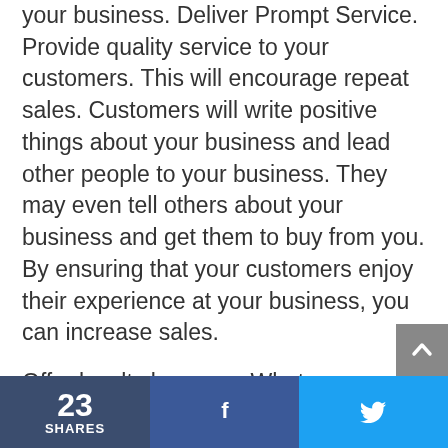your business. Deliver Prompt Service. Provide quality service to your customers. This will encourage repeat sales. Customers will write positive things about your business and lead other people to your business. They may even tell others about your business and get them to buy from you. By ensuring that your customers enjoy their experience at your business, you can increase sales.
Offer loyalty bonuses. What can customers do to support your business? Offer free food, coffee, or other gifts and incentives to customers that refer others to your business. This will encourage repeat sales of your product or service, and will also